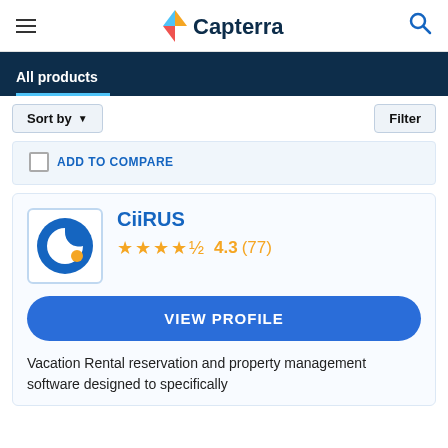Capterra
All products
Sort by   Filter
ADD TO COMPARE
CiiRUS
4.3 (77)
VIEW PROFILE
Vacation Rental reservation and property management software designed to specifically